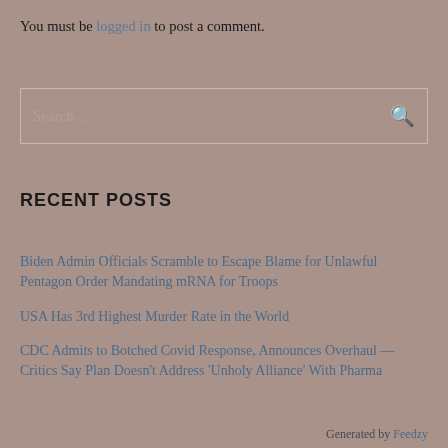You must be logged in to post a comment.
Search…
RECENT POSTS
Biden Admin Officials Scramble to Escape Blame for Unlawful Pentagon Order Mandating mRNA for Troops
USA Has 3rd Highest Murder Rate in the World
CDC Admits to Botched Covid Response, Announces Overhaul — Critics Say Plan Doesn't Address 'Unholy Alliance' With Pharma
Generated by Feedzy